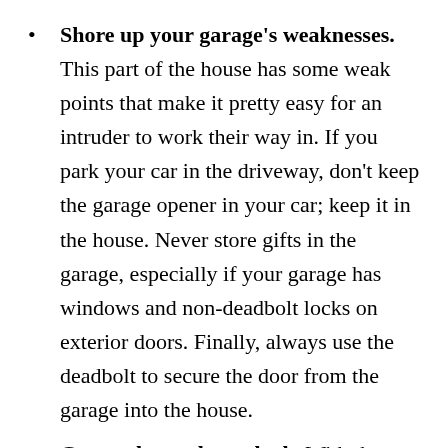Shore up your garage's weaknesses. This part of the house has some weak points that make it pretty easy for an intruder to work their way in. If you park your car in the driveway, don't keep the garage opener in your car; keep it in the house. Never store gifts in the garage, especially if your garage has windows and non-deadbolt locks on exterior doors. Finally, always use the deadbolt to secure the door from the garage into the house.
Create that at-home look. With those short days and long nights, it's a good idea to put your lights on a timer. You can also have a neighbor or family member park in your driveway intermittently. It's a great way to